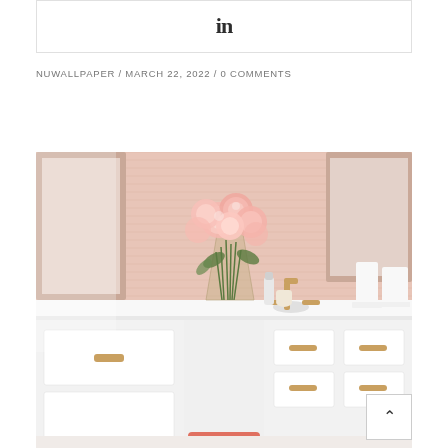[Figure (other): LinkedIn share button icon inside a bordered box]
NUWALLPAPER / MARCH 22, 2022 / 0 COMMENTS
[Figure (photo): Bathroom vanity scene with pink grasscloth wallpaper, white cabinetry with gold hardware, a vase of pink peonies, and a gold faucet. A pink stool is visible at the bottom. A scroll-to-top button appears at bottom right.]